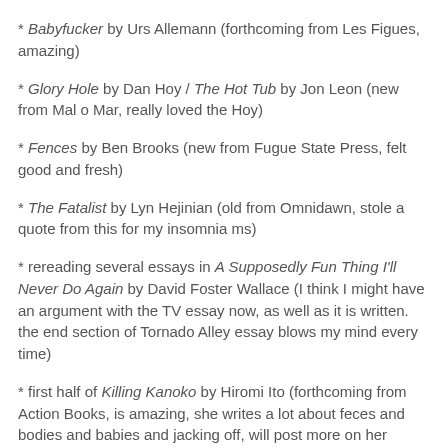* Babyfucker by Urs Allemann (forthcoming from Les Figues, amazing)
* Glory Hole by Dan Hoy / The Hot Tub by Jon Leon (new from Mal o Mar, really loved the Hoy)
* Fences by Ben Brooks (new from Fugue State Press, felt good and fresh)
* The Fatalist by Lyn Hejinian (old from Omnidawn, stole a quote from this for my insomnia ms)
* rereading several essays in A Supposedly Fun Thing I'll Never Do Again by David Foster Wallace (I think I might have an argument with the TV essay now, as well as it is written. the end section of Tornado Alley essay blows my mind every time)
* first half of Killing Kanoko by Hiromi Ito (forthcoming from Action Books, is amazing, she writes a lot about feces and bodies and babies and jacking off, will post more on her